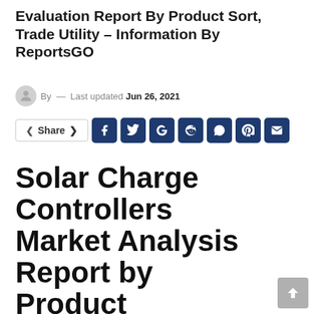Solar Charge Controllers Market Evaluation Report By Product Sort, Trade Utility – Information By ReportsGO
By — Last updated Jun 26, 2021
[Figure (other): Social share buttons row: Share button, Facebook, Twitter, Google, Reddit, WhatsApp, Pinterest, Email icons]
Solar Charge Controllers Market Analysis Report by Product